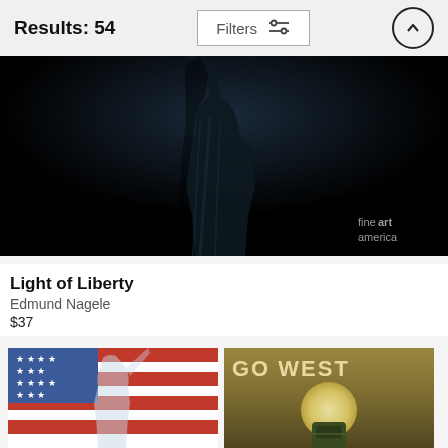Results: 54  Filters  ↑
[Figure (photo): Dark dramatic photo of Statue of Liberty torso against black background with 'fine art america' watermark]
Light of Liberty
Edmund Nagele
$37
[Figure (photo): American flag composite with Statue of Liberty overlay in red, white, and blue]
[Figure (photo): Vintage 'GO WEST' travel poster with sun and compass on olive/brown background]